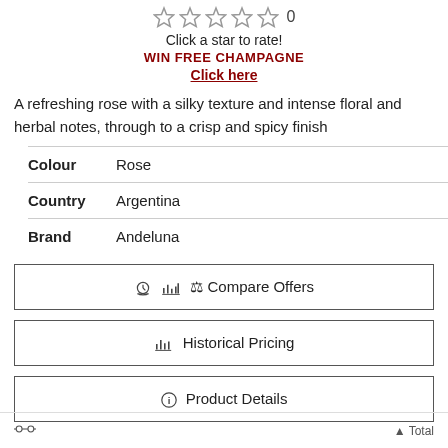[Figure (other): Five outlined star rating icons followed by the number 0]
Click a star to rate!
WIN FREE CHAMPAGNE
Click here
A refreshing rose with a silky texture and intense floral and herbal notes, through to a crisp and spicy finish
| Colour | Rose |
| Country | Argentina |
| Brand | Andeluna |
⚖ Compare Offers
📊 Historical Pricing
ℹ Product Details
Filters  Total